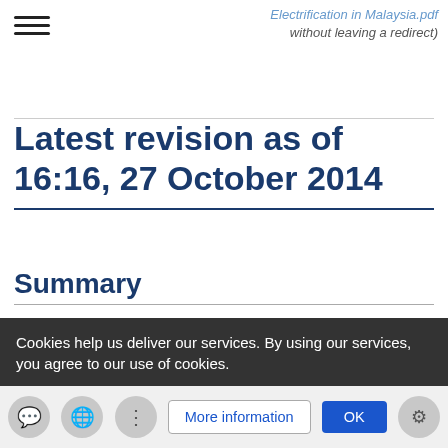Electrification in Malaysia.pdf without leaving a redirect)
Latest revision as of 16:16, 27 October 2014
Summary
|  |  |
| --- | --- |
| Description | English: Presentation Rural Electrification Workshop Myanmar |
| Source | Presentation Rural Electrification Workshop Myanmar |
Cookies help us deliver our services. By using our services, you agree to our use of cookies.
2009-04-16
Author